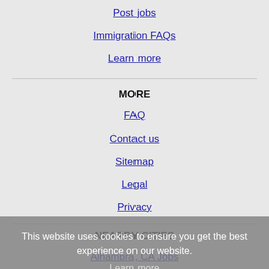Post jobs
Immigration FAQs
Learn more
MORE
FAQ
Contact us
Sitemap
Legal
Privacy
NEARBY CITIES
Alhambra, CA Jobs
Aliso Viejo, CA Jobs
Altadena, CA Jobs
Anaheim, CA Jobs
This website uses cookies to ensure you get the best experience on our website.
Learn more
Got it!